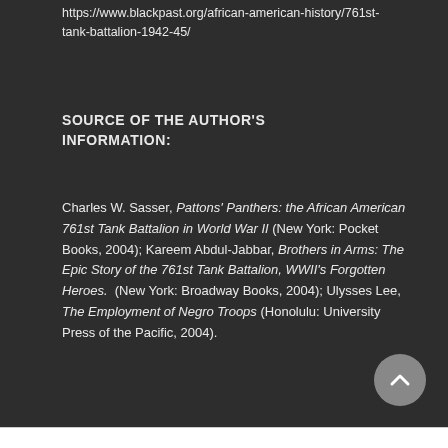https://www.blackpast.org/african-american-history/761st-tank-battalion-1942-45/
SOURCE OF THE AUTHOR'S INFORMATION:
Charles W. Sasser, Pattons' Panthers: the African American 761st Tank Battalion in World War II (New York: Pocket Books, 2004); Kareem Abdul-Jabbar, Brothers in Arms: The Epic Story of the 761st Tank Battalion, WWII's Forgotten Heroes.  (New York: Broadway Books, 2004); Ulysses Lee, The Employment of Negro Troops (Honolulu: University Press of the Pacific, 2004).